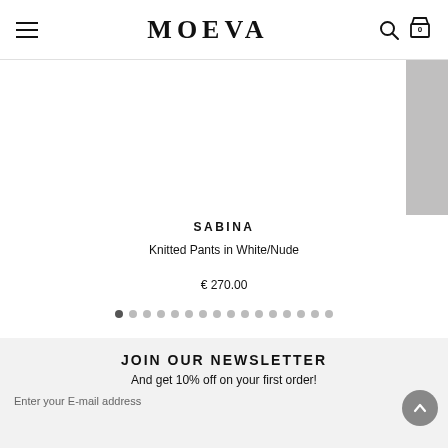MOEVA
[Figure (photo): Product photo area with grey panel on right side]
SABINA
Knitted Pants in White/Nude
€ 270.00
[Figure (infographic): Carousel navigation dots, first dot is active/dark]
JOIN OUR NEWSLETTER
And get 10% off on your first order!
Enter your E-mail address